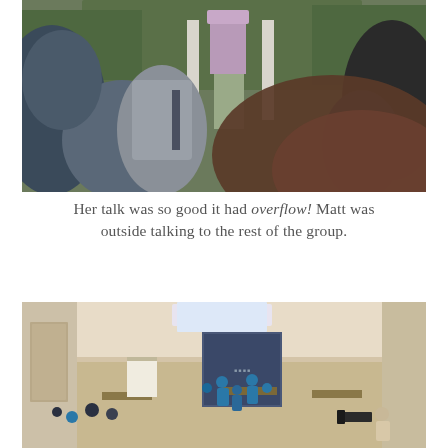[Figure (photo): Outdoor photo of a group of people with their backs to camera, listening to a speaker in a lavender shirt standing near a white-columned porch with greenery in background. A blurred brown shape occupies the right foreground.]
Her talk was so good it had overflow! Matt was outside talking to the rest of the group.
[Figure (photo): Interior overhead photo of a conference hall setup with BiggerPockets signage, people in blue shirts networking around tables and a step-and-repeat banner backdrop.]